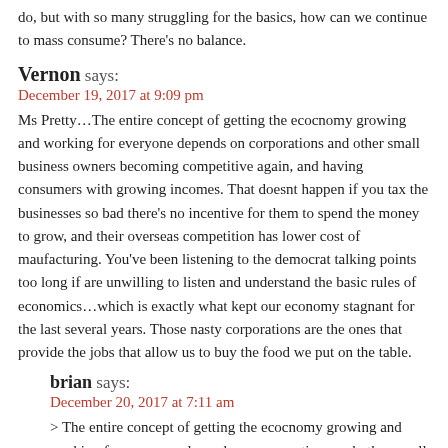do, but with so many struggling for the basics, how can we continue to mass consume? There's no balance.
Vernon says:
December 19, 2017 at 9:09 pm
Ms Pretty…The entire concept of getting the ecocnomy growing and working for everyone depends on corporations and other small business owners becoming competitive again, and having consumers with growing incomes. That doesnt happen if you tax the businesses so bad there's no incentive for them to spend the money to grow, and their overseas competition has lower cost of maufacturing. You've been listening to the democrat talking points too long if are unwilling to listen and understand the basic rules of economics…which is exactly what kept our economy stagnant for the last several years. Those nasty corporations are the ones that provide the jobs that allow us to buy the food we put on the table.
brian says:
December 20, 2017 at 7:11 am
> The entire concept of getting the ecocnomy growing and working for everyone depends on corporations and other small business owners becoming competitive again, and having consumers with growing incomes.
On what planet are our corporations not competitive? In which